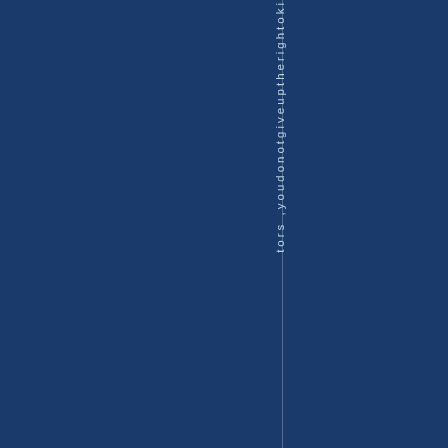tors ,youdonotgiveuptherightoki